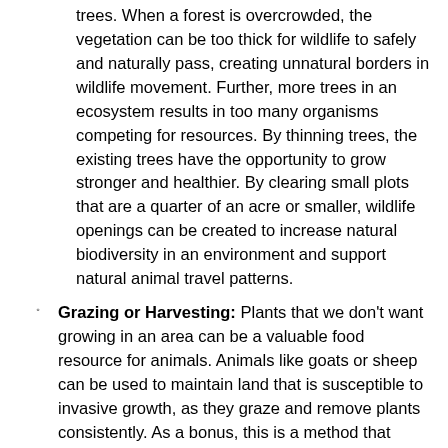trees. When a forest is overcrowded, the vegetation can be too thick for wildlife to safely and naturally pass, creating unnatural borders in wildlife movement. Further, more trees in an ecosystem results in too many organisms competing for resources. By thinning trees, the existing trees have the opportunity to grow stronger and healthier. By clearing small plots that are a quarter of an acre or smaller, wildlife openings can be created to increase natural biodiversity in an environment and support natural animal travel patterns.
Grazing or Harvesting: Plants that we don't want growing in an area can be a valuable food resource for animals. Animals like goats or sheep can be used to maintain land that is susceptible to invasive growth, as they graze and remove plants consistently. As a bonus, this is a method that requires no chemicals or other resources (like the electricity that powers machines) to remove invasive growth. The Cedar Creek Water Reclamation Facility Solar Installation uses this method-- sheep graze the area around the installation to control plant growth. In some cases, the invasive plants can also be harvested to use as feed for animals in other